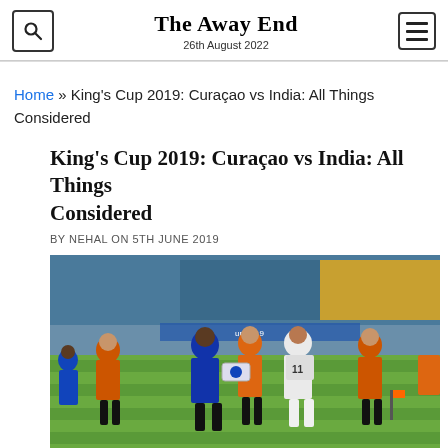The Away End
26th August 2022
Home » King's Cup 2019: Curaçao vs India: All Things Considered
King's Cup 2019: Curaçao vs India: All Things Considered
BY NEHAL ON 5TH JUNE 2019
[Figure (photo): Football match captains exchanging pennants before the King's Cup 2019 match between Curaçao and India. Referees in orange shirts stand on either side. Stadium with blue seats visible in the background.]